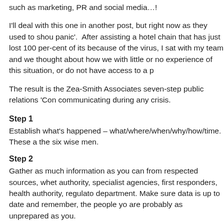such as marketing, PR and social media…!
I'll deal with this one in another post, but right now as they used to shout 'don't panic'. After assisting a hotel chain that has just lost 100 per-cent of its bookings because of the virus, I sat with my team and we thought about how we could help those with little or no experience of this situation, or do not have access to a p
The result is the Zea-Smith Associates seven-step public relations 'Con communicating during any crisis.
Step 1
Establish what's happened – what/where/when/why/how/time. These are known as the six wise men.
Step 2
Gather as much information as you can from respected sources, whether that's the authority, specialist agencies, first responders, health authority, regulators or government department. Make sure data is up to date and remember, the people you are speaking to are probably as unprepared as you.
Step 3
Call the Hands. Gather your team and get an overall picture of what's g Think of this situation report as an initial health check. Ideally, you nee